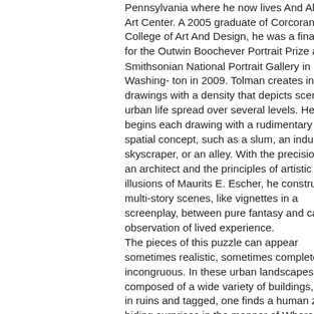Pennsylvania where he now lives And Alasco Art Center. A 2005 graduate of Corcoran College of Art And Design, he was a finalist for the Outwin Boochever Portrait Prize at the Smithsonian National Portrait Gallery in Washing- ton in 2009. Tolman creates ink drawings with a density that depicts scenes of urban life spread over several levels. He begins each drawing with a rudimentary spatial concept, such as a slum, an industrial skyscraper, or an alley. With the precision of an architect and the principles of artistic illusions of Maurits E. Escher, he constructs multi-story scenes, like vignettes in a screenplay, between pure fantasy and careful observation of lived experience. The pieces of this puzzle can appear sometimes realistic, sometimes completely incongruous. In these urban landscapes composed of a wide variety of buildings, often in ruins and tagged, one finds a human zoo hiding surprises in the manner of Where's Charlie. Tolman fills the rooms and spaces with a keen sense of humor. These various scenes represent, at their core, the quirky truths of the